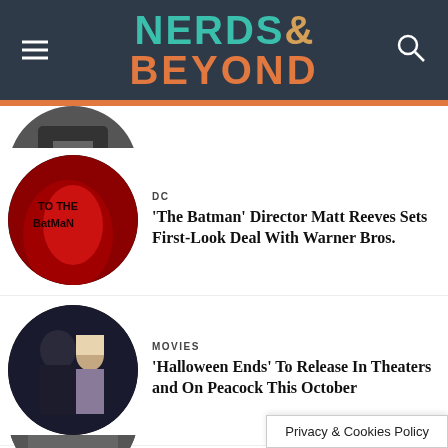NERDS& BEYOND
[Figure (photo): Circular thumbnail showing partial image at top (cropped)]
[Figure (photo): Circular thumbnail showing red-lit Batman envelope/letter image]
DC
'The Batman' Director Matt Reeves Sets First-Look Deal With Warner Bros.
[Figure (photo): Circular thumbnail showing Halloween Ends movie still with Michael Myers and woman]
MOVIES
'Halloween Ends' To Release In Theaters and On Peacock This October
[Figure (photo): Partial circular thumbnail at bottom, cropped]
Privacy & Cookies Policy